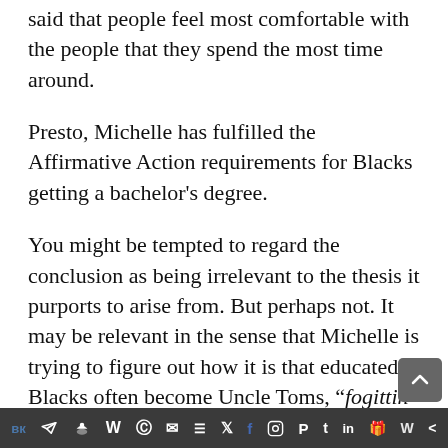said that people feel most comfortable with the people that they spend the most time around.
Presto, Michelle has fulfilled the Affirmative Action requirements for Blacks getting a bachelor's degree.
You might be tempted to regard the conclusion as being irrelevant to the thesis it purports to arise from. But perhaps not. It may be relevant in the sense that Michelle is trying to figure out how it is that educated Blacks often become Uncle Toms, “fogittin dey roots,” and how this might be prevented. Michelle might have chosen to leave unwritten the idea that educated Blacks should have their option of associating with
[Figure (other): Social media sharing toolbar with icons for VK, Telegram, Reddit, WordPress, WhatsApp, Email, Buffer, Twitter/X, Facebook, Instagram, Pinterest, Tumblr, LinkedIn, Share, Flipboard, and Share. Dark gray background.]